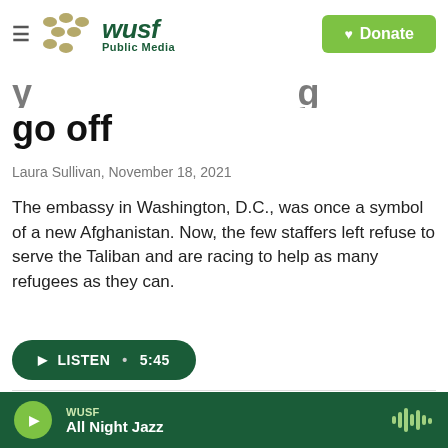WUSF Public Media
go off
Laura Sullivan, November 18, 2021
The embassy in Washington, D.C., was once a symbol of a new Afghanistan. Now, the few staffers left refuse to serve the Taliban and are racing to help as many refugees as they can.
LISTEN • 5:45
White House Declassifies FBI Report Detailing Saudi
WUSF All Night Jazz